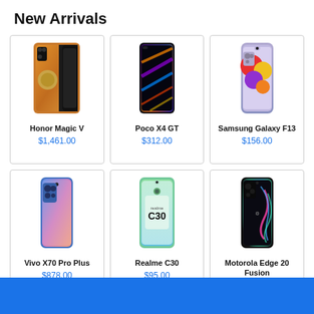New Arrivals
[Figure (photo): Honor Magic V smartphone - orange/gold back color]
Honor Magic V
$1,461.00
[Figure (photo): Poco X4 GT smartphone - dark with colorful abstract design]
Poco X4 GT
$312.00
[Figure (photo): Samsung Galaxy F13 smartphone - purple back with colorful circles]
Samsung Galaxy F13
$156.00
[Figure (photo): Vivo X70 Pro Plus smartphone - blue/pink gradient back]
Vivo X70 Pro Plus
$878.00
[Figure (photo): Realme C30 smartphone - showing realme C30 branding on screen]
Realme C30
$95.00
[Figure (photo): Motorola Edge 20 Fusion smartphone - dark back with colorful swirl]
Motorola Edge 20 Fusion
$335.00